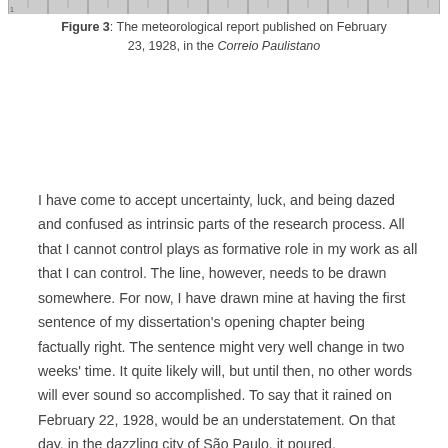[Figure (other): Top portion of a meteorological report image, showing a ruler/scale at the top and the upper edge of a historical newspaper clipping]
Figure 3: The meteorological report published on February 23, 1928, in the Correio Paulistano
I have come to accept uncertainty, luck, and being dazed and confused as intrinsic parts of the research process. All that I cannot control plays as formative role in my work as all that I can control. The line, however, needs to be drawn somewhere. For now, I have drawn mine at having the first sentence of my dissertation's opening chapter being factually right. The sentence might very well change in two weeks' time. It quite likely will, but until then, no other words will ever sound so accomplished. To say that it rained on February 22, 1928, would be an understatement. On that day, in the dazzling city of São Paulo, it poured.